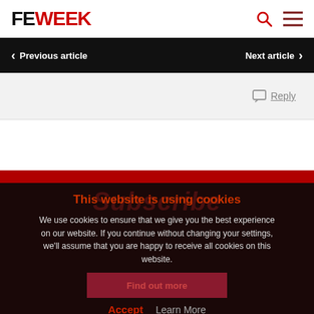FE WEEK
Previous article
Next article
Reply
This website is using cookies
We use cookies to ensure that we give you the best experience on our website. If you continue without changing your settings, we'll assume that you are happy to receive all cookies on this website.
Find out more
Accept
Learn More